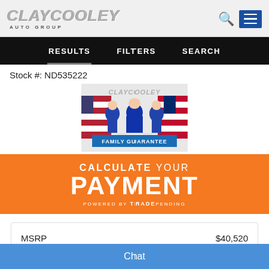Clay Cooley Auto Group
RESULTS   FILTERS   SEARCH
Stock #: ND535222
[Figure (logo): Clay Cooley Auto Group logo with three men in suits and American/Texas flags, Family Guarantee banner]
[Figure (infographic): Calculate Your Payment - Powered by TradePending orange banner]
|  |  |
| --- | --- |
| MSRP | $40,520 |
| Discounted Price | $39,710 |
Chat